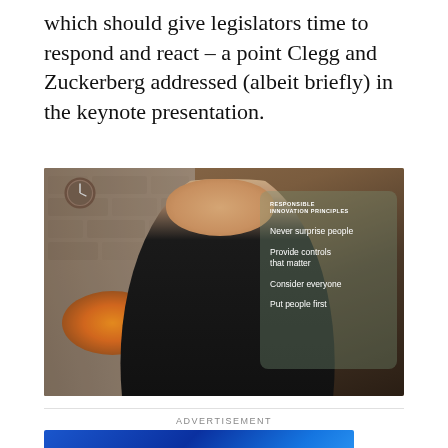which should give legislators time to respond and react – a point Clegg and Zuckerberg addressed (albeit briefly) in the keynote presentation.
[Figure (photo): Mark Zuckerberg speaking in a keynote video, seated in front of a stone fireplace in a home setting. An overlay panel on the right side lists 'Responsible Innovation Principles': Never surprise people; Provide controls that matter; Consider everyone; Put people first.]
ADVERTISEMENT
[Figure (other): Advertisement banner with blue gradient background.]